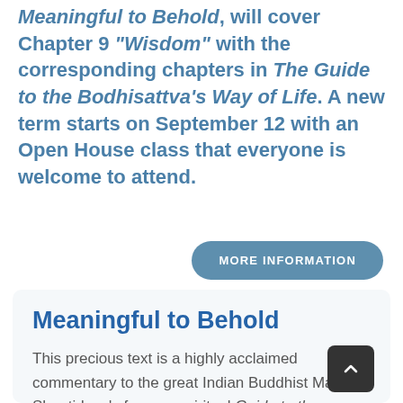Meaningful to Behold, will cover Chapter 9 "Wisdom" with the corresponding chapters in The Guide to the Bodhisattva's Way of Life. A new term starts on September 12 with an Open House class that everyone is welcome to attend.
[Figure (other): A rounded pill-shaped button with steel blue background and white text reading 'MORE INFORMATION']
Meaningful to Behold
This precious text is a highly acclaimed commentary to the great Indian Buddhist Master Shantideva's famous spiritual Guide to the Bodhisattva's Way of Life, one of the best loved and most important texts of